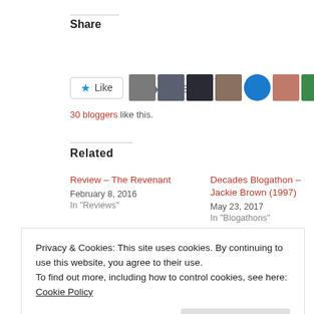Share
[Figure (screenshot): Share button with share icon]
[Figure (screenshot): Like button with star icon and row of blogger avatars]
30 bloggers like this.
Related
Review – The Revenant
February 8, 2016
In "Reviews"
Decades Blogathon – Jackie Brown (1997)
May 23, 2017
In "Blogathons"
Privacy & Cookies: This site uses cookies. By continuing to use this website, you agree to their use.
To find out more, including how to control cookies, see here: Cookie Policy
Close and accept